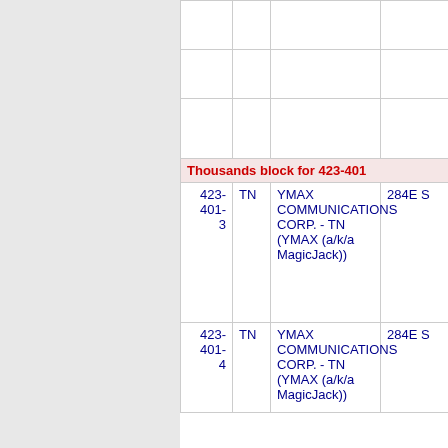| Number | State | Name | Code |
| --- | --- | --- | --- |
| Thousands block for 423-401 |  |  |  |
| 423-401-3 | TN | YMAX COMMUNICATIONS CORP. - TN (YMAX (a/k/a MagicJack)) | 284E S |
| 423-401-4 | TN | YMAX COMMUNICATIONS CORP. - TN (YMAX (a/k/a MagicJack)) | 284E S |